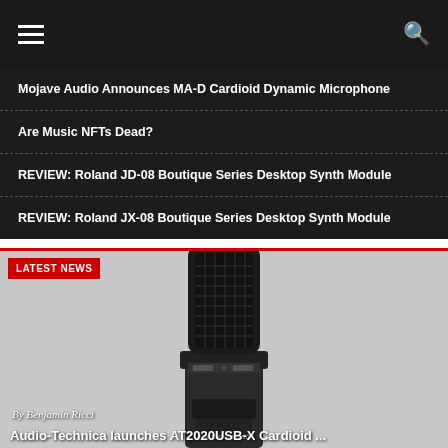Navigation bar with hamburger menu and search icon
Mojave Audio Announces MA-D Cardioid Dynamic Microphone
Are Music NFTs Dead?
REVIEW: Roland JD-08 Boutique Series Desktop Synth Module
REVIEW: Roland JX-08 Boutique Series Desktop Synth Module
LATEST NEWS
[Figure (photo): Audio-Technica condenser microphone (likely AT2020USB or similar) with black finish on gray background]
By Benjamin Ricci
Audio-Technica launches AT2020USB-X Cardioid ...